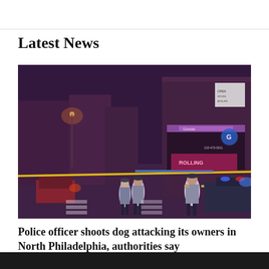Latest News
[Figure (photo): Night scene of a Philadelphia street with police officers standing behind crime scene tape. Buildings lit with purple/pink hues from emergency lights. Police vehicles visible. Street markings and crosswalk in foreground.]
Police officer shoots dog attacking its owners in North Philadelphia, authorities say